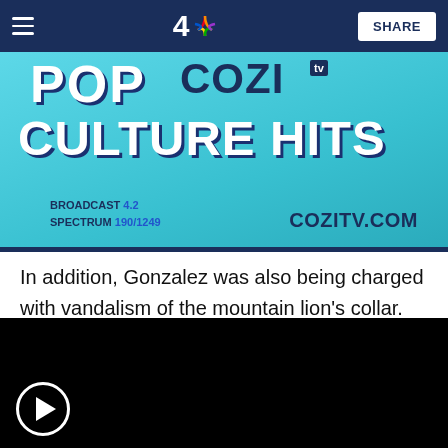4 NBC | SHARE
[Figure (advertisement): Cozi TV advertisement banner showing 'POP COZI TV CULTURE HITS' text on teal background with TV show characters. Text reads: BROADCAST 4.2 SPECTRUM 190/1249 COZITV.COM]
In addition, Gonzalez was also being charged with vandalism of the mountain lion's collar. Gonzalez will be arraigned on Oct. 9, 2019 in Ventura.
[Figure (screenshot): Black video player with play button circle at bottom left]